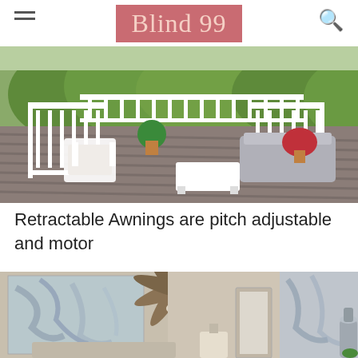Blind 99
[Figure (photo): Outdoor deck with white wicker furniture, white railing, and green trees in background]
Retractable Awnings are pitch adjustable and motor
[Figure (photo): Interior room with ceiling fan, abstract wall art, and a lamp on a side table]